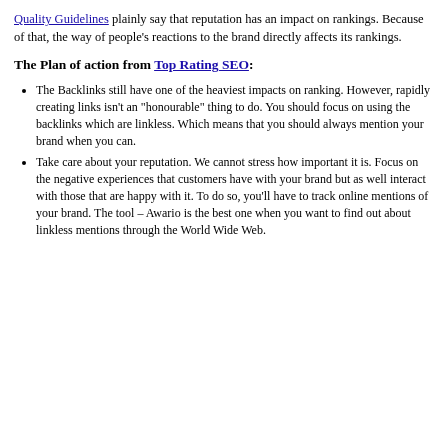Quality Guidelines plainly say that reputation has an impact on rankings. Because of that, the way of people's reactions to the brand directly affects its rankings.
The Plan of action from Top Rating SEO:
The Backlinks still have one of the heaviest impacts on ranking. However, rapidly creating links isn't an "honourable" thing to do. You should focus on using the backlinks which are linkless. Which means that you should always mention your brand when you can.
Take care about your reputation. We cannot stress how important it is. Focus on the negative experiences that customers have with your brand but as well interact with those that are happy with it. To do so, you'll have to track online mentions of your brand. The tool – Awario is the best one when you want to find out about linkless mentions through the World Wide Web.